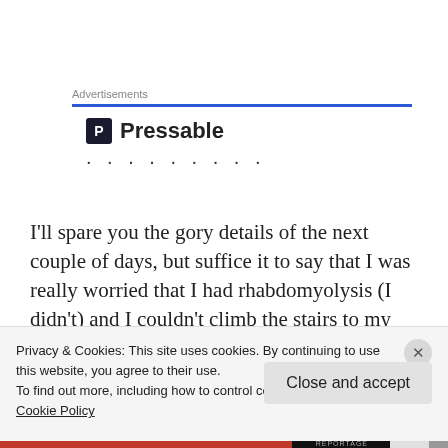Advertisements
[Figure (logo): Pressable logo with icon and dotted line below]
I'll spare you the gory details of the next couple of days, but suffice it to say that I was really worried that I had rhabdomyolysis (I didn't) and I couldn't climb the stairs to my bedroom, so I had to sleep on the couch. Overall, it
Privacy & Cookies: This site uses cookies. By continuing to use this website, you agree to their use.
To find out more, including how to control cookies, see here: Cookie Policy
Close and accept